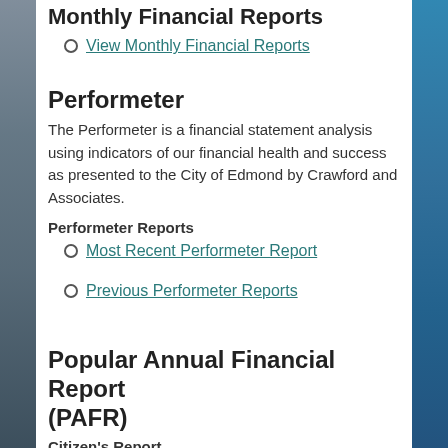Monthly Financial Reports
View Monthly Financial Reports
Performeter
The Performeter is a financial statement analysis using indicators of our financial health and success as presented to the City of Edmond by Crawford and Associates.
Performeter Reports
Most Recent Performeter Report
Previous Performeter Reports
Popular Annual Financial Report (PAFR)
Citizen's Report